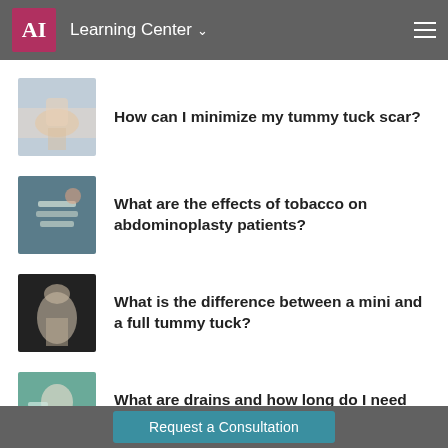AI Learning Center
How can I minimize my tummy tuck scar?
What are the effects of tobacco on abdominoplasty patients?
What is the difference between a mini and a full tummy tuck?
What are drains and how long do I need them?
Request a Consultation